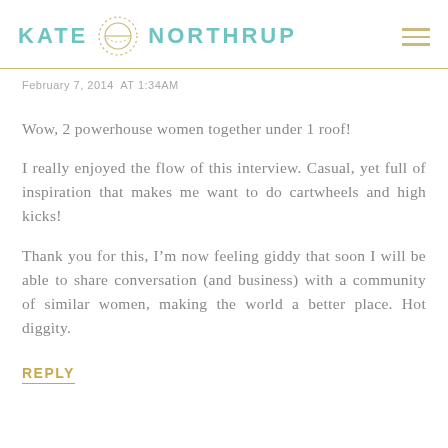KATE NORTHRUP
February 7, 2014 AT 1:34AM
Wow, 2 powerhouse women together under 1 roof!
I really enjoyed the flow of this interview. Casual, yet full of inspiration that makes me want to do cartwheels and high kicks!
Thank you for this, I’m now feeling giddy that soon I will be able to share conversation (and business) with a community of similar women, making the world a better place. Hot diggity.
REPLY